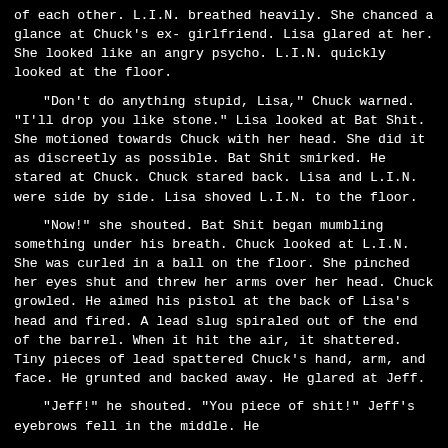of each other. L.I.N. breathed heavily. She chanced a glance at Chuck's ex-girlfriend. Lisa glared at her. She looked like an angry psycho. L.I.N. quickly looked at the floor.

"Don't do anything stupid, Lisa," Chuck warned. "I'll drop you like stone." Lisa looked at Bat Shit. She motioned towards Chuck with her head. She did it as discreetly as possible. Bat Shit smirked. He stared at Chuck. Chuck stared back. Lisa and L.I.N. were side by side. Lisa shoved L.I.N. to the floor.

"Now!" she shouted. Bat Shit began mumbling something under his breath. Chuck looked at L.I.N. She was curled in a ball on the floor. She pinched her eyes shut and threw her arms over her head. Chuck growled. He aimed his pistol at the back of Lisa's head and fired. A lead slug spiraled out of the end of the barrel. When it hit the air, it shattered. Tiny pieces of lead spattered Chuck's hand, arm, and face. He grunted and backed away. He glared at Jeff.

"Jeff!" he shouted. "You piece of shit!" Jeff's eyebrows fell in the middle. He